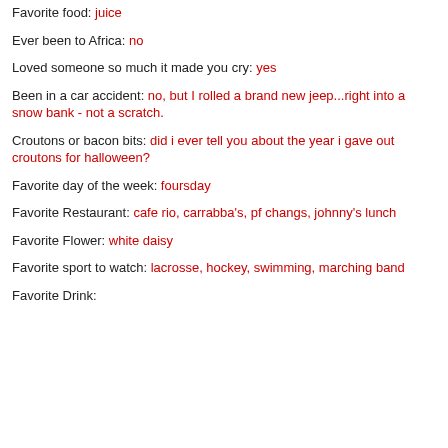Favorite food: juice
Ever been to Africa: no
Loved someone so much it made you cry: yes
Been in a car accident: no, but I rolled a brand new jeep...right into a snow bank - not a scratch.
Croutons or bacon bits: did i ever tell you about the year i gave out croutons for halloween?
Favorite day of the week: foursday
Favorite Restaurant: cafe rio, carrabba's, pf changs, johnny's lunch
Favorite Flower: white daisy
Favorite sport to watch: lacrosse, hockey, swimming, marching band
Favorite Drink: ...